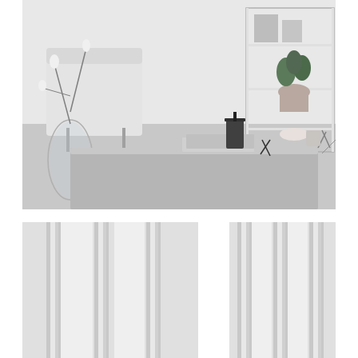[Figure (photo): Black and white interior photo of a Scandinavian-style living room. In the foreground, a concrete or stone coffee table holds books, a French press, a small bowl with items, scissors, and small ceramic vessels. A glass vase with magnolia branches is on the left. A white upholstered chair and a white shelving unit with a potted green plant are visible in the background.]
[Figure (photo): Close-up black and white photo showing what appears to be a window frame or door frame with vertical white/chrome molding strips against a light gray background.]
[Figure (photo): Close-up black and white photo showing similar vertical white/chrome molding or frame strips, matching the bottom-left photo.]